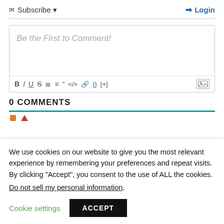✉ Subscribe ▼
➡ Login
[Figure (screenshot): Comment text editor box with placeholder text 'Be the First to Comment!' and formatting toolbar with B, I, U, S, list, quote, code, link, braces, [+] and image icons]
0 COMMENTS
We use cookies on our website to give you the most relevant experience by remembering your preferences and repeat visits. By clicking "Accept", you consent to the use of ALL the cookies.
Do not sell my personal information.
Cookie settings
ACCEPT